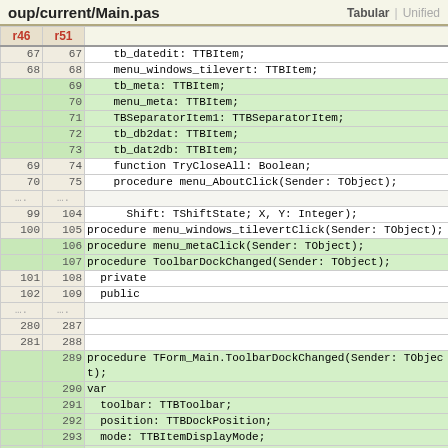oup/current/Main.pas   Tabular | Unified
| r46 | r51 |  |
| --- | --- | --- |
| 67 | 67 |     tb_datedit: TTBItem; |
| 68 | 68 |     menu_windows_tilevert: TTBItem; |
|  | 69 |     tb_meta: TTBItem; |
|  | 70 |     menu_meta: TTBItem; |
|  | 71 |     TBSeparatorItem1: TTBSeparatorItem; |
|  | 72 |     tb_db2dat: TTBItem; |
|  | 73 |     tb_dat2db: TTBItem; |
| 69 | 74 |     function TryCloseAll: Boolean; |
| 70 | 75 |     procedure menu_AboutClick(Sender: TObject); |
| .... | .... |  |
| 99 | 104 |       Shift: TShiftState; X, Y: Integer); |
| 100 | 105 |     procedure menu_windows_tilevertClick(Sender: TObject); |
|  | 106 |     procedure menu_metaClick(Sender: TObject); |
|  | 107 |     procedure ToolbarDockChanged(Sender: TObject); |
| 101 | 108 |   private |
| 102 | 109 |   public |
| .... | .... |  |
| 280 | 287 |  |
| 281 | 288 |  |
|  | 289 | procedure TForm_Main.ToolbarDockChanged(Sender: TObject); |
|  | 290 | var |
|  | 291 |   toolbar: TTBToolbar; |
|  | 292 |   position: TTBDockPosition; |
|  | 293 |   mode: TTBItemDisplayMode; |
|  | 294 |   i: Integer; |
|  | 295 |   isEnabled: Boolean; |